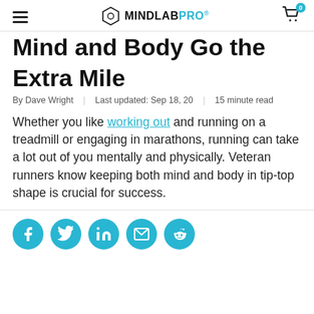MINDLABPRO
Mind and Body Go the Extra Mile
By Dave Wright  |  Last updated: Sep 18, 20  |  15 minute read
Whether you like working out and running on a treadmill or engaging in marathons, running can take a lot out of you mentally and physically. Veteran runners know keeping both mind and body in tip-top shape is crucial for success.
[Figure (infographic): Social share icons row: Facebook, Twitter, LinkedIn, Email, Reddit — all teal/cyan circular icons]